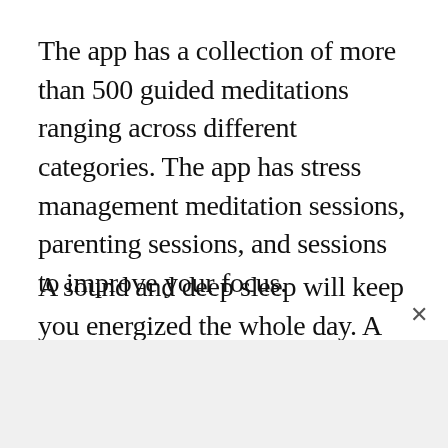The app has a collection of more than 500 guided meditations ranging across different categories. The app has stress management meditation sessions, parenting sessions, and sessions to improve your focus.
A sound and deep sleep will keep you energized the whole day. A dedicated sleep section of the app will help you fall asleep quickly. The app releases new content every week, so you are not bored with the old content.